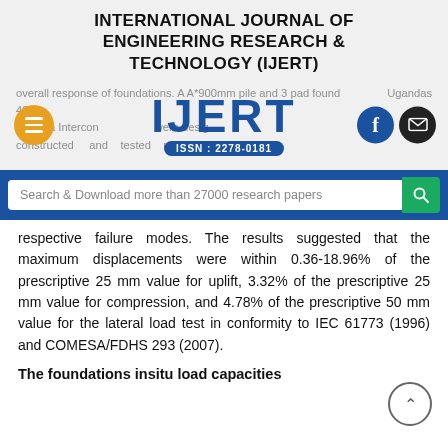INTERNATIONAL JOURNAL OF ENGINEERING RESEARCH & TECHNOLOGY (IJERT)
[Figure (logo): IJERT logo with ISSN: 2278-0181, hamburger icon, Facebook icon, email icon, and background text about foundations]
[Figure (screenshot): Search bar: Search & Download more than 27000 research papers with search button]
respective failure modes. The results suggested that the maximum displacements were within 0.36-18.96% of the prescriptive 25 mm value for uplift, 3.32% of the prescriptive 25 mm value for compression, and 4.78% of the prescriptive 50 mm value for the lateral load test in conformity to IEC 61773 (1996) and COMESA/FDHS 293 (2007).
The foundations insitu load capacities